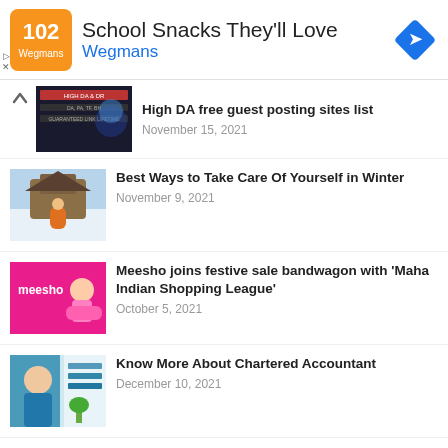[Figure (infographic): Advertisement banner for Wegmans: School Snacks They'll Love with orange logo and blue navigation arrow]
High DA free guest posting sites list
November 15, 2021
Best Ways to Take Care Of Yourself in Winter
November 9, 2021
Meesho joins festive sale bandwagon with 'Maha Indian Shopping League'
October 5, 2021
Know More About Chartered Accountant
December 10, 2021
The reason we choose to use Custom Soap Boxes made of Kraft
December 10, 2021